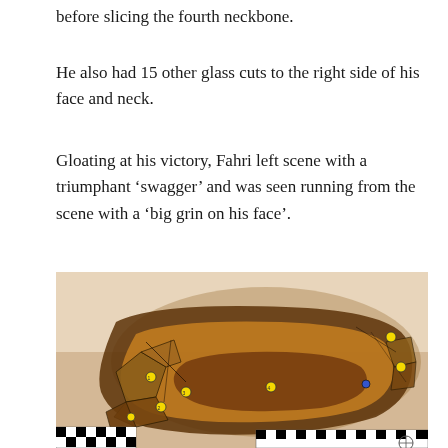before slicing the fourth neckbone.
He also had 15 other glass cuts to the right side of his face and neck.
Gloating at his victory, Fahri left scene with a triumphant ‘swagger’ and was seen running from the scene with a ‘big grin on his face’.
[Figure (photo): Forensic evidence photograph of a broken amber/brown glass casserole dish or baking pan that has been shattered, with yellow evidence markers (numbered) placed around the pieces. A forensic ruler scale is visible at the bottom of the image. The dish is sitting on a light-coloured surface.]